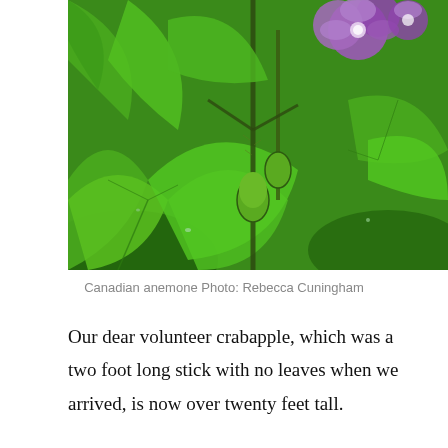[Figure (photo): Close-up photograph of Canadian anemone plant with bright green lobed leaves and purple flowers with white centers, some buds visible, on green stems.]
Canadian anemone Photo: Rebecca Cuningham
Our dear volunteer crabapple, which was a two foot long stick with no leaves when we arrived, is now over twenty feet tall.